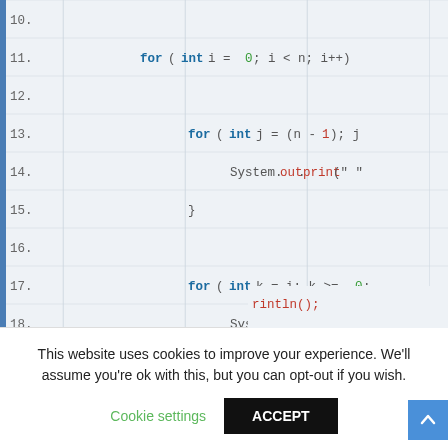[Figure (screenshot): Screenshot of a code editor showing Java code with line numbers 10-23. Lines show nested for loops with variables i, j, k, l. Background is light blue-gray with grid lines and a blue left border bar. Syntax highlighted: keywords in bold blue, numbers in green, method calls in red.]
This website uses cookies to improve your experience. We'll assume you're ok with this, but you can opt-out if you wish.
Cookie settings   ACCEPT